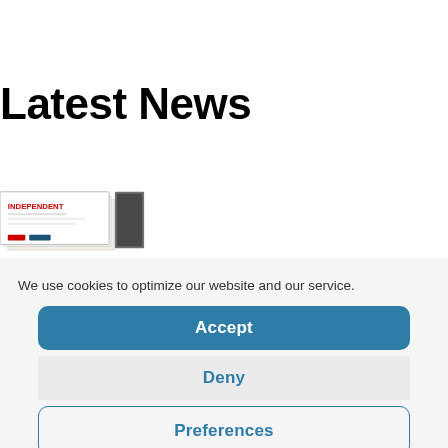Latest News
[Figure (illustration): Newspaper/magazine covers partially visible, showing 'INDEPENDENT' masthead text in red, stacked at an angle]
We use cookies to optimize our website and our service.
Accept
Deny
Preferences